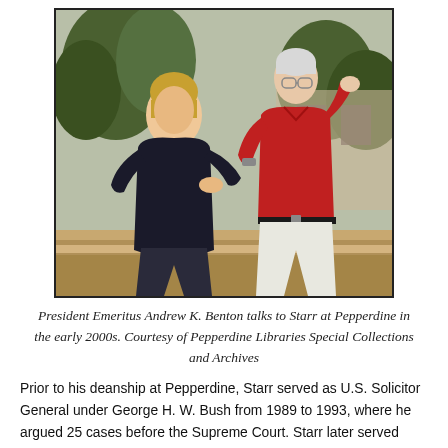[Figure (photo): Two men standing outdoors at Pepperdine in the early 2000s. The man on the left wears a dark black sweater/jacket and dark pants, hand on hip. The man on the right wears a red polo shirt and white pants, gesturing with one hand. Trees and campus architecture visible in background.]
President Emeritus Andrew K. Benton talks to Starr at Pepperdine in the early 2000s. Courtesy of Pepperdine Libraries Special Collections and Archives
Prior to his deanship at Pepperdine, Starr served as U.S. Solicitor General under George H. W. Bush from 1989 to 1993, where he argued 25 cases before the Supreme Court. Starr later served Michael A. Ellinoff in 1993 before